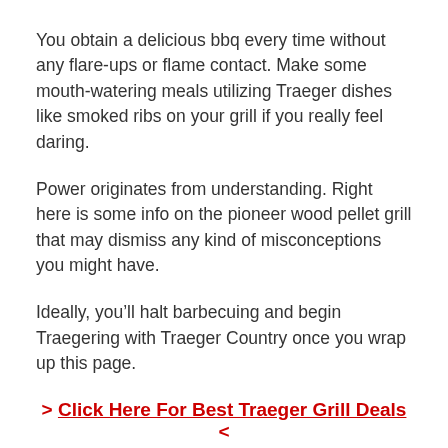You obtain a delicious bbq every time without any flare-ups or flame contact. Make some mouth-watering meals utilizing Traeger dishes like smoked ribs on your grill if you really feel daring.
Power originates from understanding. Right here is some info on the pioneer wood pellet grill that may dismiss any kind of misconceptions you might have.
Ideally, you’ll halt barbecuing and begin Traegering with Traeger Country once you wrap up this page.
> Click Here For Best Traeger Grill Deals <